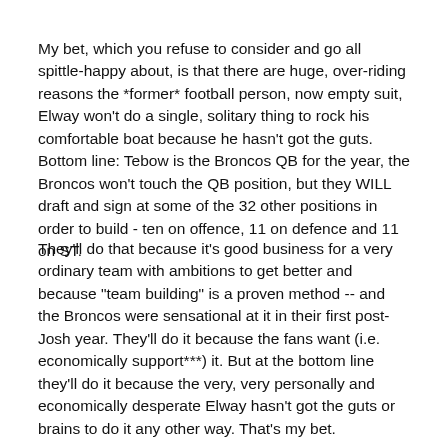My bet, which you refuse to consider and go all spittle-happy about, is that there are huge, over-riding reasons the *former* football person, now empty suit, Elway won't do a single, solitary thing to rock his comfortable boat because he hasn't got the guts. Bottom line: Tebow is the Broncos QB for the year, the Broncos won't touch the QB position, but they WILL draft and sign at some of the 32 other positions in order to build - ten on offence, 11 on defence and 11 on ST.
They'll do that because it's good business for a very ordinary team with ambitions to get better and because "team building" is a proven method -- and the Broncos were sensational at it in their first post-Josh year. They'll do it because the fans want (i.e. economically support***) it. But at the bottom line they'll do it because the very, very personally and economically desperate Elway hasn't got the guts or brains to do it any other way. That's my bet.